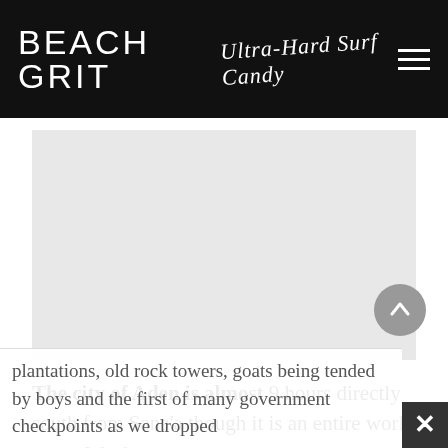BEACH GRIT Ultra-Hard Surf Candy
[Figure (photo): Large light gray rectangular image placeholder area]
The city of Aden is almost 9 hours directly south from Sana'a though it is an entire world away. We drove past qat plantations, old rock towers, goats being tended by boys and the first of many government checkpoints as we dropped